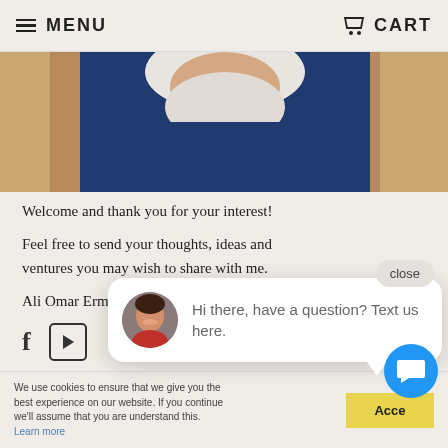MENU    CART
[Figure (photo): Partial view of an elderly man with a white beard wearing a dark navy blue shirt, cropped to show neck and shoulders]
Welcome and thank you for your interest!
Feel free to send your thoughts, ideas and ventures you may wish to share with me.
Ali Omar Ermes
[Figure (other): Social media icons: Facebook (f) and YouTube (play button)]
News &
[Figure (screenshot): Chat widget popup with avatar of a woman smiling, message: 'Hi there, have a question? Text us here.' with a close button]
We use cookies to ensure that we give you the best experience on our website. If you continue we'll assume that you are understand this. Learn more